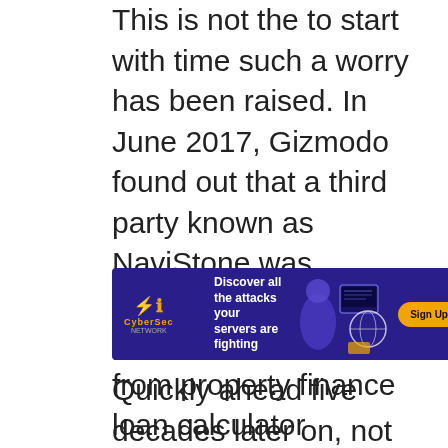This is not the to start with time such a worry has been raised. In June 2017, Gizmodo found out that a third party known as NaviStone was accumulating particular information from property finance loan calculator varieties prior to their submission, with pretty couple of sites explicitly disclosing this apply in their privacy plan.
[Figure (infographic): An advertisement banner with dark purple/blue background for a cybersecurity company. Shows logo 'CyberSec' on the left, text 'Discover all the attacks your servers are fighting' in the middle, an illustration of servers and a globe, and a yellow 'Sign Up for Free' button on the right.]
Quickly ahead five decades later on, not considerably has improved, the scientists mentioned, what with websites similar to fashion/natural beauty, online procuring, and normal information emerging as the leading